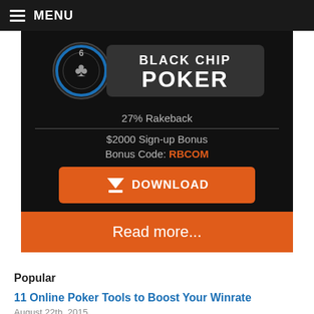MENU
[Figure (logo): Black Chip Poker logo with poker chip and text]
27% Rakeback
$2000 Sign-up Bonus
Bonus Code: RBCOM
[Figure (other): DOWNLOAD button in orange]
Read more...
Popular
11 Online Poker Tools to Boost Your Winrate
August 22th, 2015